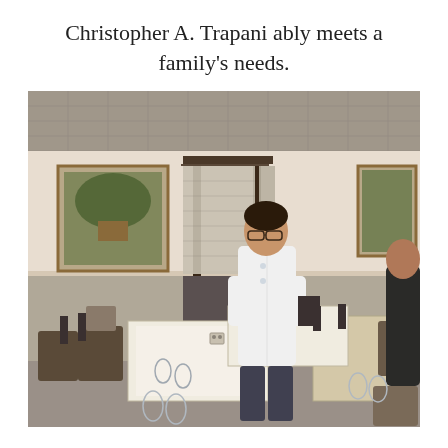Christopher A. Trapani ably meets a family's needs.
[Figure (photo): Interior of a restaurant dining room with tables set with white tablecloths and glassware, dark wood chairs, a decorative wall panel in the background, and a woman in a white chef's coat standing in the middle of the room.]